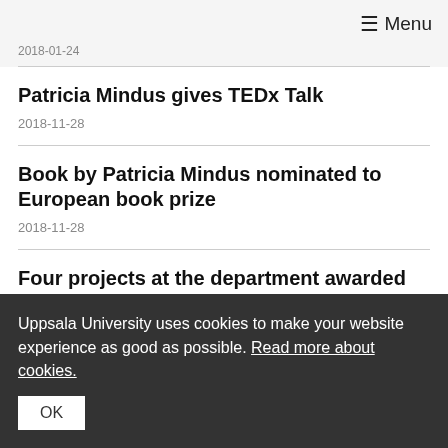≡ Menu
2018-01-24
Patricia Mindus gives TEDx Talk
2018-11-28
Book by Patricia Mindus nominated to European book prize
2018-11-28
Four projects at the department awarded research grants by the Swedish Research
Uppsala University uses cookies to make your website experience as good as possible. Read more about cookies.